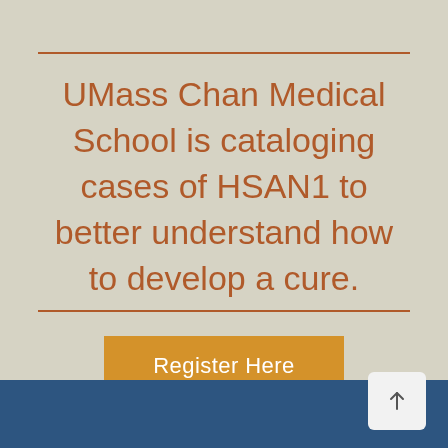UMass Chan Medical School is cataloging cases of HSAN1 to better understand how to develop a cure.
Register Here